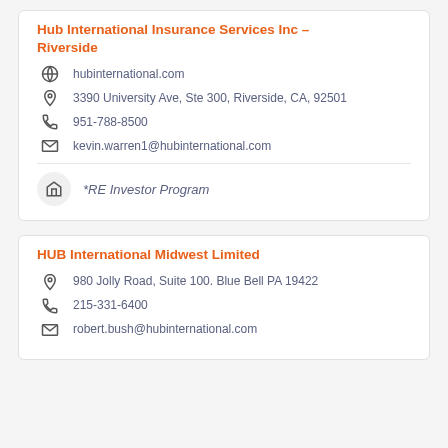Hub International Insurance Services Inc – Riverside
hubinternational.com
3390 University Ave, Ste 300, Riverside, CA, 92501
951-788-8500
kevin.warren1@hubinternational.com
*RE Investor Program
HUB International Midwest Limited
980 Jolly Road, Suite 100. Blue Bell PA 19422
215-331-6400
robert.bush@hubinternational.com